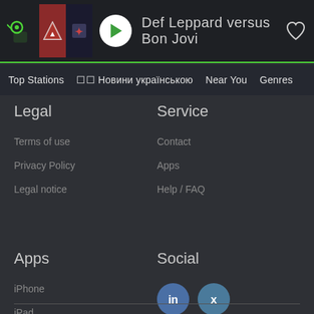[Figure (screenshot): Radio app player bar showing Def Leppard versus Bon Jovi station with logo, album art, play button and heart icon]
Top Stations  ☐☐ Новини українською  Near You  Genres
Legal
Terms of use
Privacy Policy
Legal notice
Service
Contact
Apps
Help / FAQ
Apps
iPhone
iPad
Android
Social
[Figure (logo): LinkedIn and Xing social media icon circles]